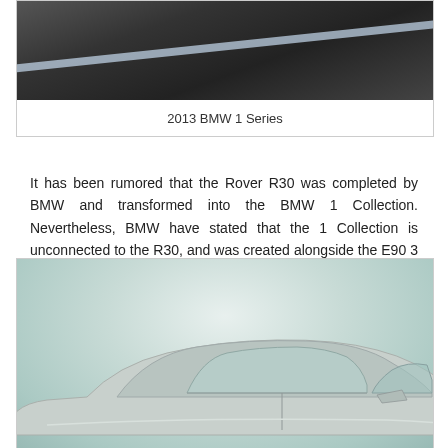[Figure (photo): Close-up photograph of a dark diagonal surface (likely a car roof or hood) with a light-colored stripe, black and dark gray tones]
2013 BMW 1 Series
It has been rumored that the Rover R30 was completed by BMW and transformed into the BMW 1 Collection. Nevertheless, BMW have stated that the 1 Collection is unconnected to the R30, and was created alongside the E90 3 Series.
[Figure (photo): Photograph of a silver BMW sedan against a light gray/green studio background, showing the side profile of the car from approximately the B-pillar forward, with visible windshield, roof, mirrors, and front door]